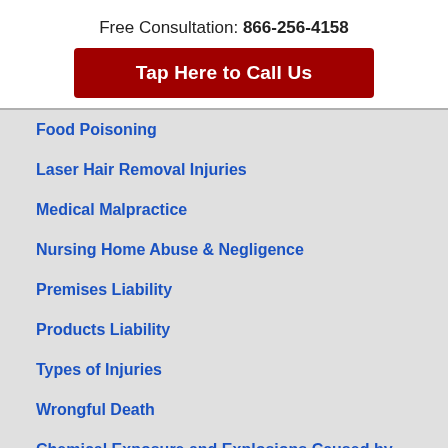Free Consultation: 866-256-4158
Tap Here to Call Us
Food Poisoning
Laser Hair Removal Injuries
Medical Malpractice
Nursing Home Abuse & Negligence
Premises Liability
Products Liability
Types of Injuries
Wrongful Death
Chemical Exposure and Explosions Caused by